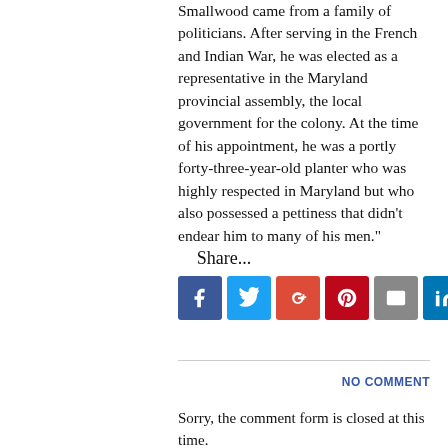Smallwood came from a family of politicians. After serving in the French and Indian War, he was elected as a representative in the Maryland provincial assembly, the local government for the colony. At the time of his appointment, he was a portly forty-three-year-old planter who was highly respected in Maryland but who also possessed a pettiness that didn't endear him to many of his men."
Share...
[Figure (infographic): Social sharing icons row: Facebook (blue), Twitter (light blue), Google+ (red), Pinterest (dark red), Email (gray), LinkedIn (dark blue), Print (gray), StumbleUpon (orange)]
NO COMMENT
Sorry, the comment form is closed at this time.